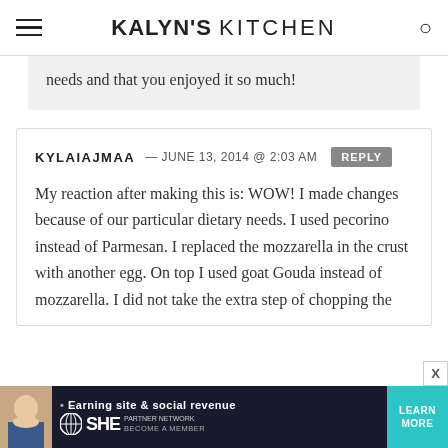KALYN'S KITCHEN
needs and that you enjoyed it so much!
KYLAIAJMAA — JUNE 13, 2014 @ 2:03 AM [REPLY]
My reaction after making this is: WOW! I made changes because of our particular dietary needs. I used pecorino instead of Parmesan. I replaced the mozzarella in the crust with another egg. On top I used goat Gouda instead of mozzarella. I did not take the extra step of chopping the
[Figure (infographic): SHE Media ad banner: woman photo, text 'Earning site & social revenue', SHE logo, PARTNER NETWORK, BECOME A MEMBER, LEARN MORE button in teal]